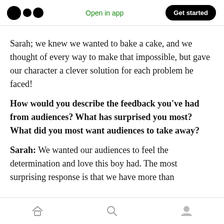Open in app | Get started
Sarah; we knew we wanted to bake a cake, and we thought of every way to make that impossible, but gave our character a clever solution for each problem he faced!
How would you describe the feedback you’ve had from audiences? What has surprised you most? What did you most want audiences to take away?
Sarah: We wanted our audiences to feel the determination and love this boy had. The most surprising response is that we have more than
[home] [search] [profile]